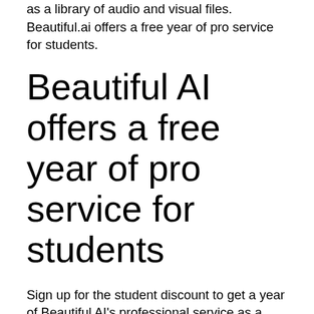as a library of audio and visual files. Beautiful.ai offers a free year of pro service for students.
Beautiful AI offers a free year of pro service for students
Sign up for the student discount to get a year of Beautiful AI's professional service as a student. To get the student discount, you only need a valid university.edu address to sign up. Beautiful AI can be used to create stunning presentations with minimal effort once you have created an account. The free trial is available to create stunning presentations. However, once you have paid